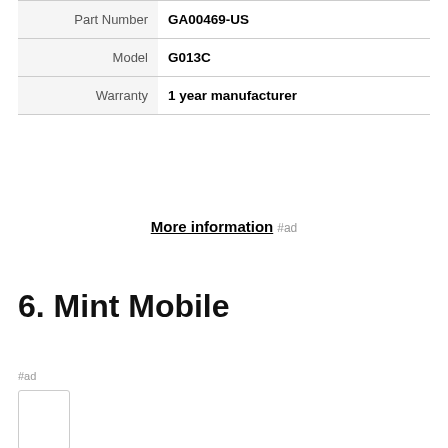| Part Number | GA00469-US |
| Model | G013C |
| Warranty | 1 year manufacturer |
More information #ad
6. Mint Mobile
#ad
As an Amazon Associate I earn from qualifying purchases. This website uses the only necessary cookies to ensure you get the best experience on our website. More information